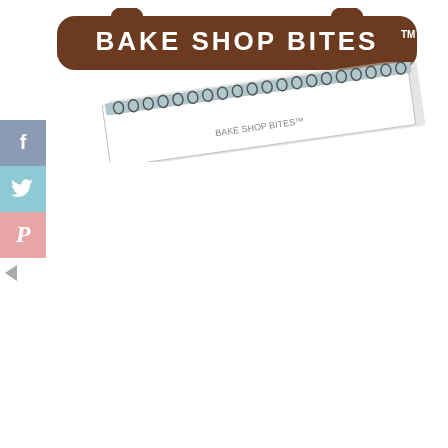[Figure (logo): Bake Shop Bites logo: brown rounded rectangular badge shape with text 'BAKE SHOP BITES' in white and a TM mark]
[Figure (photo): Angled spiral-bound notebook or notepad, light colored, partially visible in upper right area of the page]
[Figure (infographic): Social media sharing sidebar on the left edge with Facebook (blue-grey), Twitter (light blue), and Pinterest (pink) icon buttons stacked vertically, and a small left-pointing arrow/collapse toggle below them]